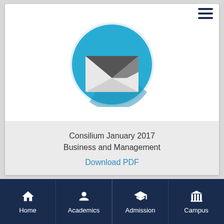[Figure (illustration): Blue circle icon with an envelope/email graphic (white envelope with dark triangular flap shadow) on white background, representing a newsletter or email publication.]
Consilium January 2017
Business and Management
Download PDF
[Figure (other): Partial view of a second card below the main card.]
Home | Academics | Admission | Campus